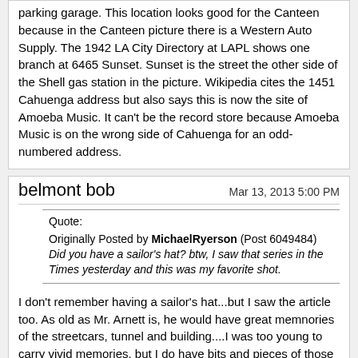parking garage. This location looks good for the Canteen because in the Canteen picture there is a Western Auto Supply. The 1942 LA City Directory at LAPL shows one branch at 6465 Sunset. Sunset is the street the other side of the Shell gas station in the picture. Wikipedia cites the 1451 Cahuenga address but also says this is now the site of Amoeba Music. It can't be the record store because Amoeba Music is on the wrong side of Cahuenga for an odd-numbered address.
belmont bob
Mar 13, 2013 5:00 PM
Quote: Originally Posted by MichaelRyerson (Post 6049484) Did you have a sailor's hat? btw, I saw that series in the Times yesterday and this was my favorite shot.
I don't remember having a sailor's hat...but I saw the article too. As old as Mr. Arnett is, he would have great memnories of the streetcars, tunnel and building....I was too young to carry vivid memories, but I do have bits and pieces of those long ago days.

However, I did attend Belmont HS just up the street from the tunnel and we would walk by the place everytime we went into downtown. So even though it was closed by then, I was reminded of the memories on a regular basis.